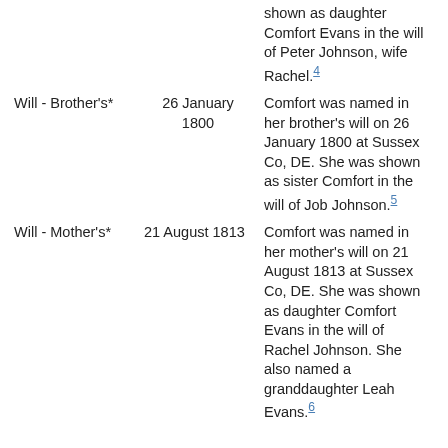|  |  | shown as daughter Comfort Evans in the will of Peter Johnson, wife Rachel.4 |
| Will - Brother's* | 26 January 1800 | Comfort was named in her brother's will on 26 January 1800 at Sussex Co, DE. She was shown as sister Comfort in the will of Job Johnson.5 |
| Will - Mother's* | 21 August 1813 | Comfort was named in her mother's will on 21 August 1813 at Sussex Co, DE. She was shown as daughter Comfort Evans in the will of Rachel Johnson. She also named a granddaughter Leah Evans.6 |
| Family |  | Jacob Evans b. 8 Aug 1751, d. b 6 Jan 1805 |
| Children | 1 | Peter Evans7 b. 2 Nov |